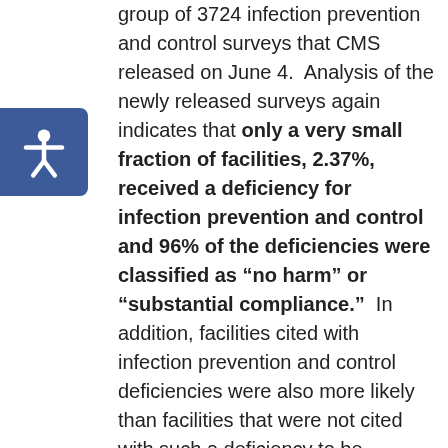group of 3724 infection prevention and control surveys that CMS released on June 4. Analysis of the newly released surveys again indicates that only a very small fraction of facilities, 2.37%, received a deficiency for infection prevention and control and 96% of the deficiencies were classified as “no harm” or “substantial compliance.” In addition, facilities cited with infection prevention and control deficiencies were also more likely than facilities that were not cited with such a deficiency to be operated on a for-profit basis, to have had the remedies of civil money penalties or denial of payment for new admissions imposed in the prior three years, and to be Special Focus Facilities or candidates for the Special Focus Facility program